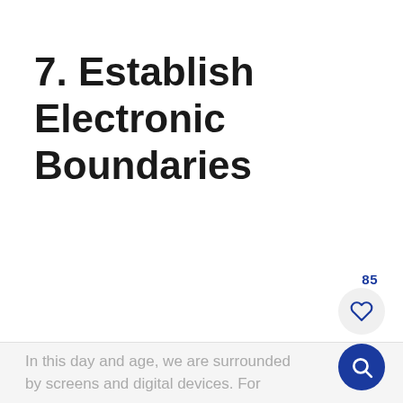7. Establish Electronic Boundaries
In this day and age, we are surrounded by screens and digital devices. For